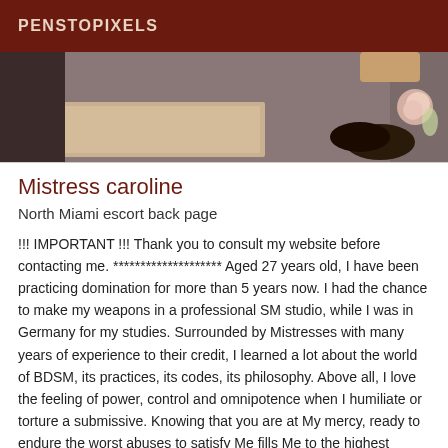PENSTOPIXELS
[Figure (photo): Partial photo showing feet/shoes on a carpet with a book and flower visible]
Mistress caroline
North Miami escort back page
!!! IMPORTANT !!! Thank you to consult my website before contacting me. ******************** Aged 27 years old, I have been practicing domination for more than 5 years now. I had the chance to make my weapons in a professional SM studio, while I was in Germany for my studies. Surrounded by Mistresses with many years of experience to their credit, I learned a lot about the world of BDSM, its practices, its codes, its philosophy. Above all, I love the feeling of power, control and omnipotence when I humiliate or torture a submissive. Knowing that you are at My mercy, ready to endure the worst abuses to satisfy Me fills Me to the highest degree. I love to look